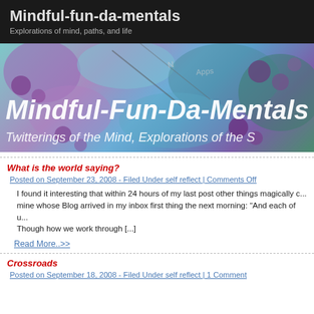Mindful-fun-da-mentals
Explorations of mind, paths, and life
[Figure (illustration): Colorful artistic banner with paint-like background showing purple and blue hues with floral motifs. Text overlay reads 'Mindful-Fun-Da-Mentals' in large white handwritten script, and below 'Twitterings of the Mind, Explorations of the S...']
What is the world saying?
Posted on September 23, 2008 - Filed Under self reflect | Comments Off
I found it interesting that within 24 hours of my last post other things magically c... mine whose Blog arrived in my inbox first thing the next morning: “And each of u... Though how we work through [...]
Read More..>>
Crossroads
Posted on September 18, 2008 - Filed Under self reflect | 1 Comment